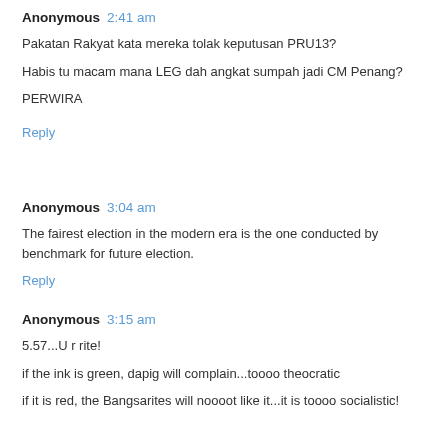Anonymous  2:41 am
Pakatan Rakyat kata mereka tolak keputusan PRU13?

Habis tu macam mana LEG dah angkat sumpah jadi CM Penang?

PERWIRA
Reply
Anonymous  3:04 am
The fairest election in the modern era is the one conducted by benchmark for future election.
Reply
Anonymous  3:15 am
5.57...U r rite!

if the ink is green, dapig will complain...toooo theocratic

if it is red, the Bangsarites will noooot like it...it is toooo socialistic!